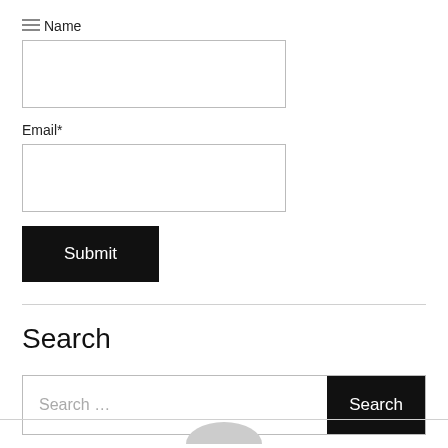Name
[Figure (other): Name input text field (empty)]
Email*
[Figure (other): Email input text field (empty)]
[Figure (other): Submit button (black background, white text)]
Search
[Figure (other): Search bar with placeholder 'Search ...' and black Search button]